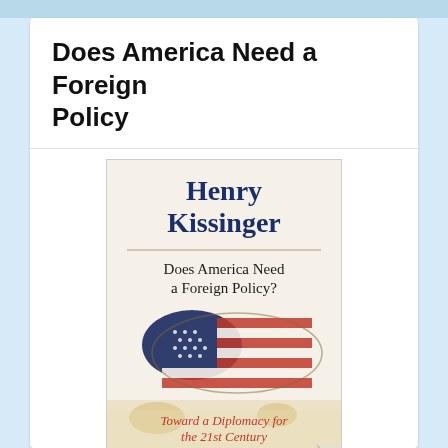Does America Need a Foreign Policy
[Figure (photo): Book cover of 'Does America Need a Foreign Policy?' by Henry Kissinger. The cover shows the author's name 'Henry Kissinger' in large dark blue serif font at the top, followed by the title 'Does America Need a Foreign Policy?' in dark serif font. Below is an image of the United States map overlaid with the American flag design (stars and stripes). At the bottom is the subtitle 'Toward a Diplomacy for the 21st Century' in red italic font, followed by 'WITH A NEW AFTERWORD BY THE AUTHOR' in small caps, and a review quote. The book cover has a curled page effect at the bottom right.]
Author: Henry Kissinger